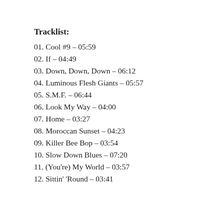Tracklist:
01. Cool #9 – 05:59
02. If – 04:49
03. Down, Down, Down – 06:12
04. Luminous Flesh Giants – 05:57
05. S.M.F. – 06:44
06. Look My Way – 04:00
07. Home – 03:27
08. Moroccan Sunset – 04:23
09. Killer Bee Bop – 03:54
10. Slow Down Blues – 07:20
11. (You're) My World – 03:57
12. Sittin' 'Round – 03:41